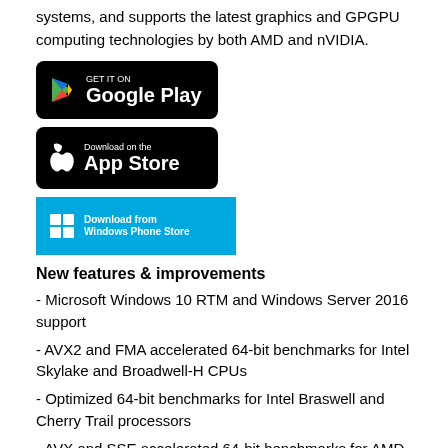systems, and supports the latest graphics and GPGPU computing technologies by both AMD and nVIDIA.
[Figure (logo): Google Play store badge - black rounded rectangle with Play icon and text 'GET IT ON Google Play']
[Figure (logo): Apple App Store badge - black rounded rectangle with Apple icon and text 'Download on the App Store']
[Figure (logo): Windows Phone Store badge - cyan/blue rectangle with Windows store icon and text 'Download from Windows Phone Store']
New features & improvements
- Microsoft Windows 10 RTM and Windows Server 2016 support
- AVX2 and FMA accelerated 64-bit benchmarks for Intel Skylake and Broadwell-H CPUs
- Optimized 64-bit benchmarks for Intel Braswell and Cherry Trail processors
- AVX and SSE accelerated 64-bit benchmarks for AMD Nolan APUs